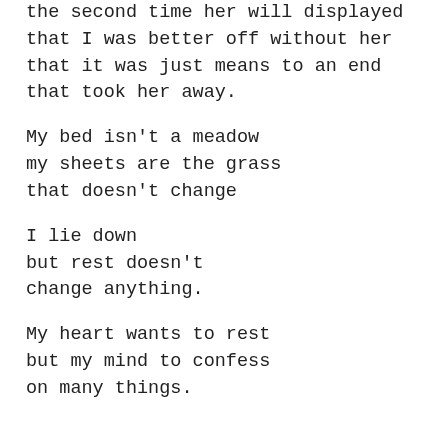the second time her will displayed
that I was better off without her
that it was just means to an end
that took her away.
My bed isn't a meadow
my sheets are the grass
that doesn't change
I lie down
but rest doesn't
change anything.
My heart wants to rest
but my mind to confess
on many things.